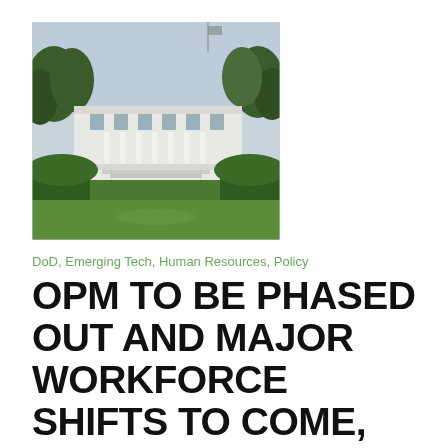[Figure (photo): Photograph of the White House South Portico with green trees and lawn in the foreground under a light sky with a flag visible at top.]
DoD, Emerging Tech, Human Resources, Policy
OPM TO BE PHASED OUT AND MAJOR WORKFORCE SHIFTS TO COME, WHITE HOUSE BUDGET SUGGESTS